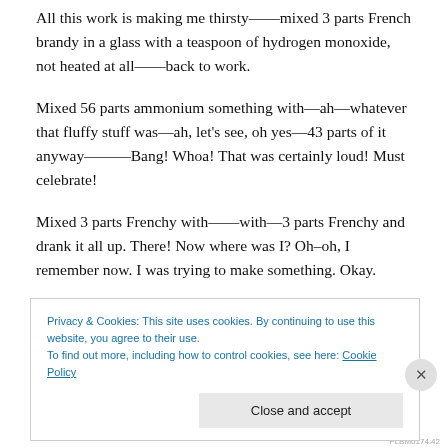All this work is making me thirsty——mixed 3 parts French brandy in a glass with a teaspoon of hydrogen monoxide, not heated at all——back to work.
Mixed 56 parts ammonium something with—ah—whatever that fluffy stuff was—ah, let's see, oh yes—43 parts of it anyway———Bang! Whoa! That was certainly loud! Must celebrate!
Mixed 3 parts Frenchy with——with—3 parts Frenchy and drank it all up. There! Now where was I? Oh–oh, I remember now. I was trying to make something. Okay.
Privacy & Cookies: This site uses cookies. By continuing to use this website, you agree to their use.
To find out more, including how to control cookies, see here: Cookie Policy